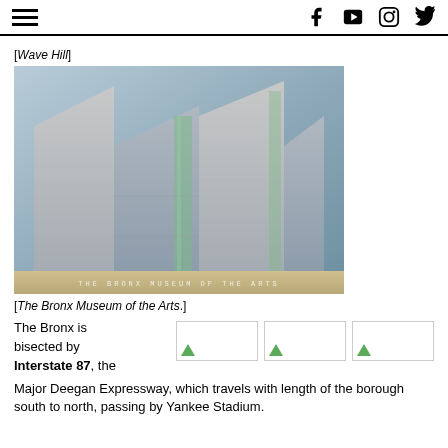[ hamburger menu ] [ f ] [ youtube ] [ instagram ] [ twitter ]
[Wave Hill]
[Figure (photo): Exterior photo of The Bronx Museum of the Arts building with angular modernist facade and lettering at base reading THE BRONX MUSEUM OF THE ARTS]
[The Bronx Museum of the Arts.]
The Bronx is bisected by Interstate 87, the Major Deegan Expressway, which travels with length of the borough south to north, passing by Yankee Stadium.